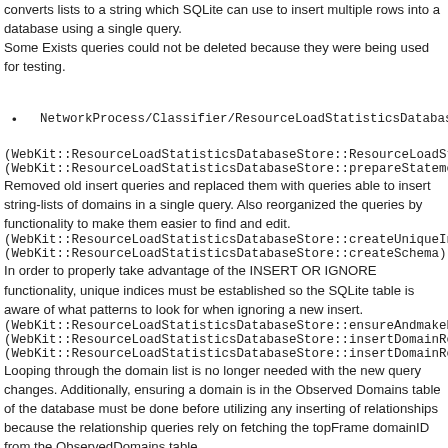converts lists to a string which SQLite can use to insert multiple rows into a database using a single query.
Some Exists queries could not be deleted because they were being used for testing.
NetworkProcess/Classifier/ResourceLoadStatisticsDatabaseStore.cpp:
(WebKit::ResourceLoadStatisticsDatabaseStore::ResourceLoadStatisticsDatab...
(WebKit::ResourceLoadStatisticsDatabaseStore::prepareStatements):
Removed old insert queries and replaced them with queries able to insert string-lists of domains in a single query. Also reorganized the queries by functionality to make them easier to find and edit.
(WebKit::ResourceLoadStatisticsDatabaseStore::createUniqueIndices):
(WebKit::ResourceLoadStatisticsDatabaseStore::createSchema):
In order to properly take advantage of the INSERT OR IGNORE functionality, unique indices must be established so the SQLite table is aware of what patterns to look for when ignoring a new insert.
(WebKit::ResourceLoadStatisticsDatabaseStore::ensureAndmakeDomainList):
(WebKit::ResourceLoadStatisticsDatabaseStore::insertDomainRelationshipList):
(WebKit::ResourceLoadStatisticsDatabaseStore::insertDomainRelationships):
Looping through the domain list is no longer needed with the new query changes. Additionally, ensuring a domain is in the Observed Domains table of the database must be done before utilizing any inserting of relationships because the relationship queries rely on fetching the topFrame domainID from the ObservedDomains table.
(WebKit::ResourceLoadStatisticsDatabaseStore::grantStorageAccess):
(WebKit::ResourceLoadStatisticsDatabaseStore::logFrameNavigation):
(WebKit::ResourceLoadStatisticsDatabaseStore::logCrossSiteLoadWithLinkDe...